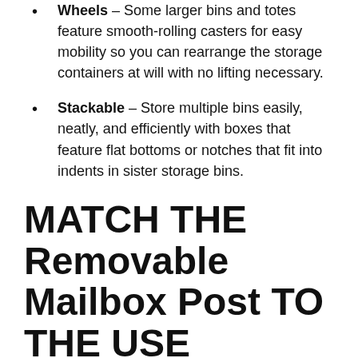Wheels – Some larger bins and totes feature smooth-rolling casters for easy mobility so you can rearrange the storage containers at will with no lifting necessary.
Stackable – Store multiple bins easily, neatly, and efficiently with boxes that feature flat bottoms or notches that fit into indents in sister storage bins.
MATCH THE Removable Mailbox Post TO THE USE
Before you choose a removable mailbox post for storing or moving your belongings, you'll